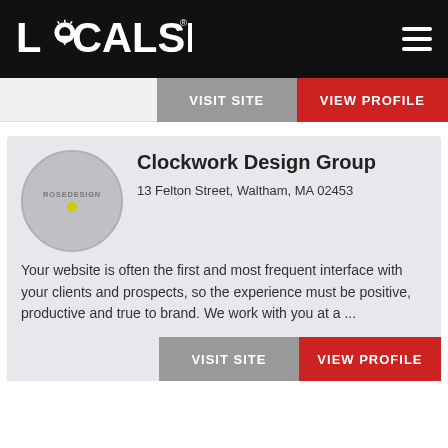LOCALSPARK
VISIT SITE   VIEW PROFILE
[Figure (logo): Clockwork Design Group logo — circular gray badge with ROSEDESIGN text and yellow-green dot]
Clockwork Design Group
13 Felton Street, Waltham, MA 02453
Your website is often the first and most frequent interface with your clients and prospects, so the experience must be positive, productive and true to brand. We work with you at a ...
VISIT SITE   VIEW PROFILE